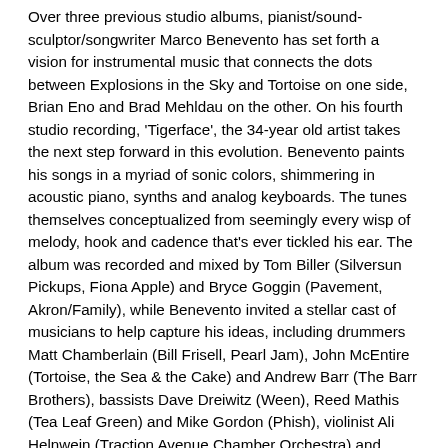Over three previous studio albums, pianist/sound-sculptor/songwriter Marco Benevento has set forth a vision for instrumental music that connects the dots between Explosions in the Sky and Tortoise on one side, Brian Eno and Brad Mehldau on the other. On his fourth studio recording, 'Tigerface', the 34-year old artist takes the next step forward in this evolution. Benevento paints his songs in a myriad of sonic colors, shimmering in acoustic piano, synths and analog keyboards. The tunes themselves conceptualized from seemingly every wisp of melody, hook and cadence that's ever tickled his ear. The album was recorded and mixed by Tom Biller (Silversun Pickups, Fiona Apple) and Bryce Goggin (Pavement, Akron/Family), while Benevento invited a stellar cast of musicians to help capture his ideas, including drummers Matt Chamberlain (Bill Frisell, Pearl Jam), John McEntire (Tortoise, the Sea & the Cake) and Andrew Barr (The Barr Brothers), bassists Dave Dreiwitz (Ween), Reed Mathis (Tea Leaf Green) and Mike Gordon (Phish), violinist Ali Helnwein (Traction Avenue Chamber Orchestra) and saxophonist Stuart Bogie (Antibalas, Superhuman Happiness). for the first time on record he uses vocals, inviting Kalmia Traver (Rubblebucket) to sing on the infectious dance rock rave-up 'Limbs of a Pine' and the pastoral psych rock meditation 'This Is How It Goes'. Other standouts include the angelic Arcade Fire meets the Flaming Lips anthem 'Eagle Rock', the soaring garage psychadelia of 'Going West', the piano riff rock jaunt 'Escape Horse', and the happily lilting 'Fireworks', which bounces along